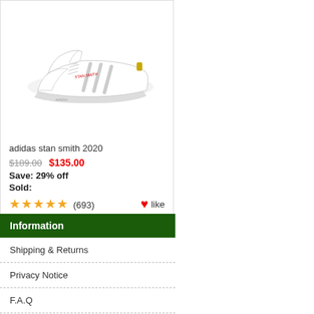[Figure (photo): White Adidas Stan Smith 2020 sneaker on white background, side view showing three stripes and red text detail]
adidas stan smith 2020
$189.00  $135.00
Save: 29% off
Sold:
★★★★★ (693)  ❤like
Information
Shipping & Returns
Privacy Notice
F.A.Q
Contact Us
Site Map